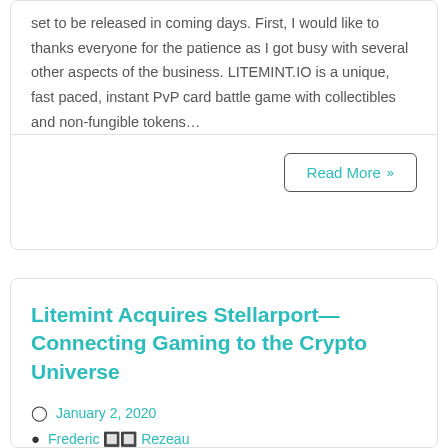set to be released in coming days. First, I would like to thanks everyone for the patience as I got busy with several other aspects of the business. LITEMINT.IO is a unique, fast paced, instant PvP card battle game with collectibles and non-fungible tokens…
Read More »
Litemint Acquires Stellarport—Connecting Gaming to the Crypto Universe
January 2, 2020
Frederic 🔲🔲 Rezeau